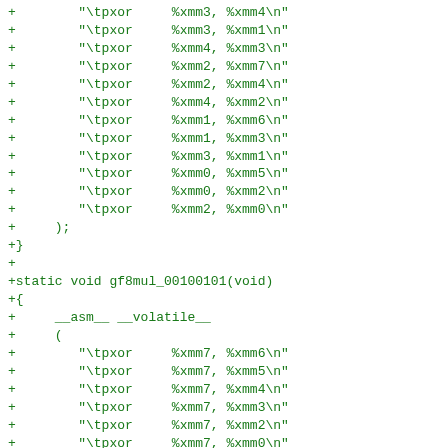+ "\tpxor %xmm3, %xmm4\n"
+ "\tpxor %xmm3, %xmm1\n"
+ "\tpxor %xmm4, %xmm3\n"
+ "\tpxor %xmm2, %xmm7\n"
+ "\tpxor %xmm2, %xmm4\n"
+ "\tpxor %xmm4, %xmm2\n"
+ "\tpxor %xmm1, %xmm6\n"
+ "\tpxor %xmm1, %xmm3\n"
+ "\tpxor %xmm3, %xmm1\n"
+ "\tpxor %xmm0, %xmm5\n"
+ "\tpxor %xmm0, %xmm2\n"
+ "\tpxor %xmm2, %xmm0\n"
+ );
+}
+
+static void gf8mul_00100101(void)
+{
+ __asm__ __volatile__
+ (
+ "\tpxor %xmm7, %xmm6\n"
+ "\tpxor %xmm7, %xmm5\n"
+ "\tpxor %xmm7, %xmm4\n"
+ "\tpxor %xmm7, %xmm3\n"
+ "\tpxor %xmm7, %xmm2\n"
+ "\tpxor %xmm7, %xmm0\n"
+ "\tpxor %xmm6, %xmm7\n"
+ "\tpxor %xmm6, %xmm3\n"
+ "\tpxor %xmm7, %xmm6\n"
+ "\tpxor %xmm5, %xmm6\n"
+ "\tpxor %xmm5, %xmm2\n"